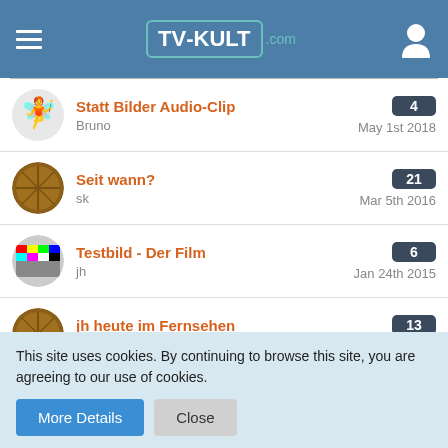TV-KULT.com
Statt Bilder Audio-Clip | Bruno | May 1st 2018 | 4
Seit wann? | sk | Mar 5th 2016 | 21
Testbild - Der Film | jh | Jan 24th 2015 | 6
jh heute im Fernsehen | Vogel Specht | Jun 1st 2014 | 13
Audiokommentare | jh | Dec 6th 2012 | 13
This site uses cookies. By continuing to browse this site, you are agreeing to our use of cookies.